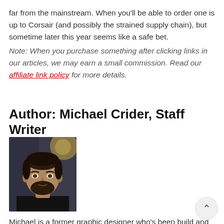far from the mainstream. When you'll be able to order one is up to Corsair (and possibly the strained supply chain), but sometime later this year seems like a safe bet.
Note: When you purchase something after clicking links in our articles, we may earn a small commission. Read our affiliate link policy for more details.
Author: Michael Crider, Staff Writer
[Figure (photo): Headshot photo of Michael Crider, a man with dark hair and beard wearing a black shirt, against a dark background]
Michael is a former graphic designer who's been build and tweaking desktop computers for longer than he cares